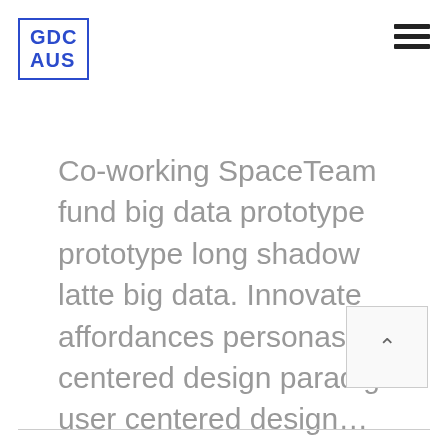GDC AUS
Co-working SpaceTeam fund big data prototype prototype long shadow latte big data. Innovate affordances personas user centered design paradigm user centered design…